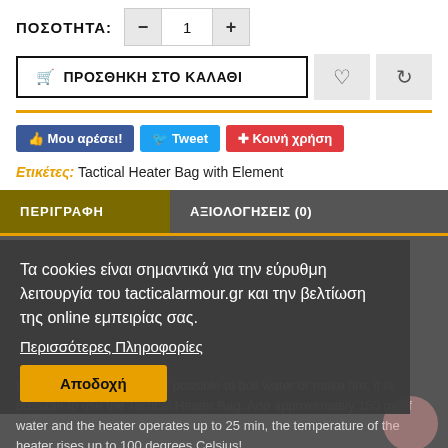ΠΟΣΟΤΗΤΑ: - 1 +
ΠΡΟΣΘΗΚΗ ΣΤΟ ΚΑΛΑΘΙ
Μου αρέσει! Tweet Κοινή χρήση
Ετικέτες: Tactical Heater Bag with Element
ΠΕΡΙΓΡΑΦΗ
ΑΞΙΟΛΟΓΗΣΕΙΣ (0)
Τα cookies είναι σημαντικά για την εύρυθμη λειτουργία του tacticalarmour.gr και την βελτίωση της online εμπειρίας σας.
Περισσότερες Πληροφορίες
Αποδοχή
In situations where it is not possible to boil water or make fire, it is possible to use the Tactical Heater Bag. Add approximately 150 ml of water and the heater operates up to 25 min, the temperature of the heater rises up to 100 degrees Celsius!